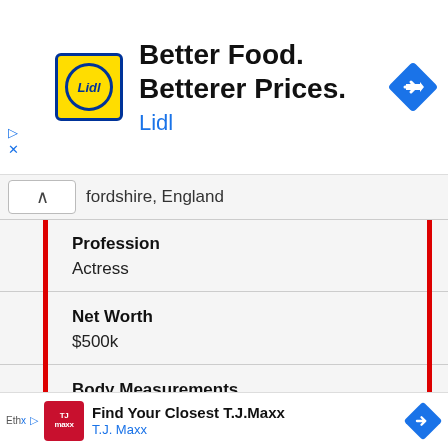[Figure (screenshot): Lidl advertisement banner: yellow/blue Lidl logo, headline 'Better Food. Betterer Prices.' with subtext 'Lidl', blue diamond navigation arrow icon on right]
fordshire, England
| Profession | Actress |
| Net Worth | $500k |
| Body Measurements | 31-24-31 inches |
| Height | 5′ 3½″ (1.61 m) |
[Figure (screenshot): T.J. Maxx advertisement banner: red TJ Maxx logo, headline 'Find Your Closest T.J.Maxx' with subtext 'T.J. Maxx', blue diamond navigation arrow icon on right]